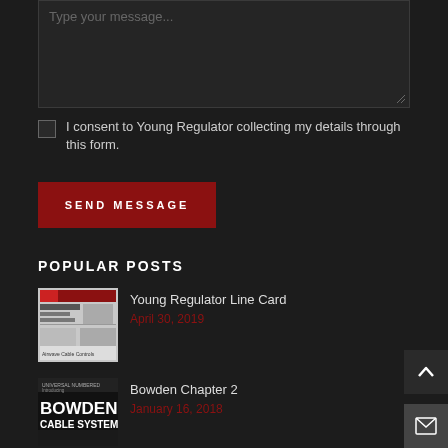[Figure (screenshot): Textarea input box with placeholder text 'Type your message...' and resize handle in the bottom-right corner, dark background.]
I consent to Young Regulator collecting my details through this form.
SEND MESSAGE
POPULAR POSTS
[Figure (screenshot): Thumbnail image of Young Regulator Line Card document.]
Young Regulator Line Card
April 30, 2019
[Figure (screenshot): Thumbnail image of Bowden Cable System document cover with text 'UNIVERSAL NUMBERED Introducing BOWDEN CABLE SYSTEM'.]
Bowden Chapter 2
January 16, 2018